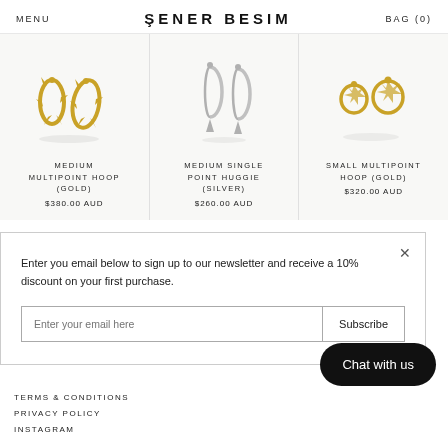MENU  ŞENER BESIM  BAG (0)
[Figure (photo): Three jewelry product images: gold spiky hoop earrings, silver single point huggie earrings, and small gold multipoint hoop earrings]
MEDIUM MULTIPOINT HOOP (GOLD)
$380.00 AUD
MEDIUM SINGLE POINT HUGGIE (SILVER)
$260.00 AUD
SMALL MULTIPOINT HOOP (GOLD)
$320.00 AUD
Enter you email below to sign up to our newsletter and receive a 10% discount on your first purchase.
Enter your email here  Subscribe
Chat with us
TERMS & CONDITIONS
PRIVACY POLICY
INSTAGRAM